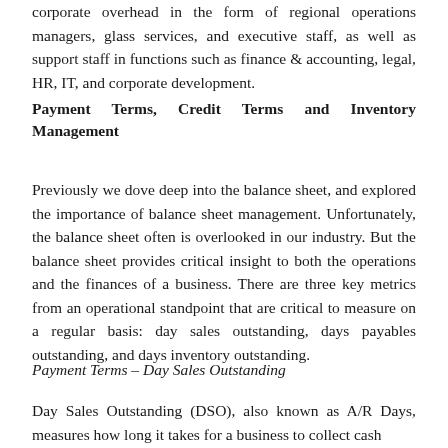corporate overhead in the form of regional operations managers, glass services, and executive staff, as well as support staff in functions such as finance & accounting, legal, HR, IT, and corporate development.
Payment Terms, Credit Terms and Inventory Management
Previously we dove deep into the balance sheet, and explored the importance of balance sheet management. Unfortunately, the balance sheet often is overlooked in our industry. But the balance sheet provides critical insight to both the operations and the finances of a business. There are three key metrics from an operational standpoint that are critical to measure on a regular basis: day sales outstanding, days payables outstanding, and days inventory outstanding.
Payment Terms – Day Sales Outstanding
Day Sales Outstanding (DSO), also known as A/R Days, measures how long it takes for a business to collect cash